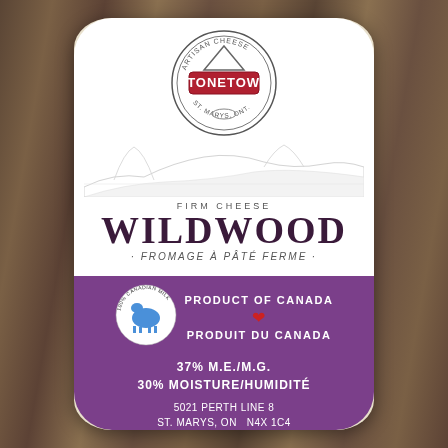[Figure (photo): Stonetown Artisan Cheese product photo — a wedge of Wildwood firm cheese with white and purple label on wood background]
STONETOWN
FIRM CHEESE
WILDWOOD
· FROMAGE À PÂTÉ FERME ·
PRODUCT OF CANADA
PRODUIT DU CANADA
37% M.E./M.G.
30% MOISTURE/HUMIDITÉ
5021 PERTH LINE 8
ST. MARYS, ON  N4X 1C4